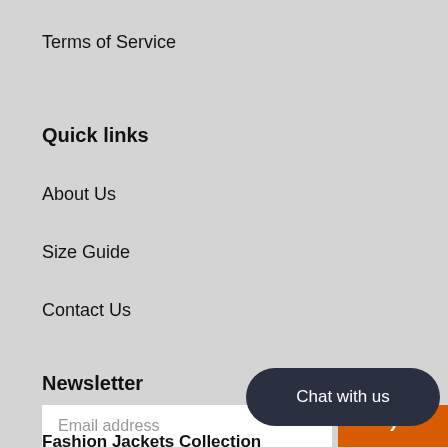Terms of Service
Quick links
About Us
Size Guide
Contact Us
Newsletter
Email address
[Figure (other): Chat with us button - dark rounded pill shape with white text]
Fashion Jackets Collection